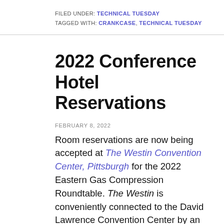FILED UNDER: TECHNICAL TUESDAY
TAGGED WITH: CRANKCASE, TECHNICAL TUESDAY
2022 Conference Hotel Reservations
FEBRUARY 8, 2022
Room reservations are now being accepted at The Westin Convention Center, Pittsburgh for the 2022 Eastern Gas Compression Roundtable. The Westin is conveniently connected to the David Lawrence Convention Center by an indoor walkway and is the host hotel for the annual EGCR. The EGCR room